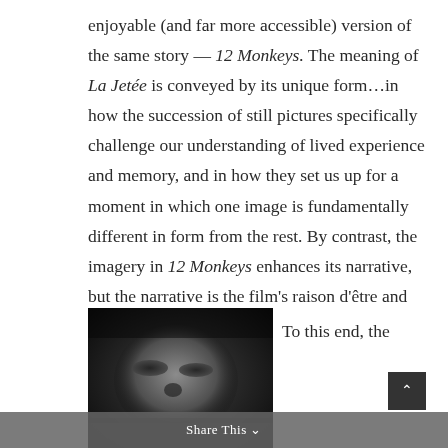enjoyable (and far more accessible) version of the same story — 12 Monkeys. The meaning of La Jetée is conveyed by its unique form…in how the succession of still pictures specifically challenge our understanding of lived experience and memory, and in how they set us up for a moment in which one image is fundamentally different in form from the rest. By contrast, the imagery in 12 Monkeys enhances its narrative, but the narrative is the film's raison d'être and foundation.
[Figure (photo): A close-up black and white photograph of a face, showing eyes and nose in dramatic low-key lighting.]
To this end, the